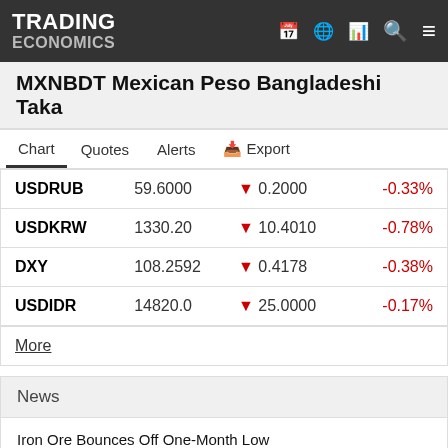TRADING ECONOMICS
MXNBDT Mexican Peso Bangladeshi Taka
Chart  Quotes  Alerts  ↓ Export
| Symbol | Value | Change | % Change |
| --- | --- | --- | --- |
| USDRUB | 59.6000 | ▼ 0.2000 | -0.33% |
| USDKRW | 1330.20 | ▼ 10.4010 | -0.78% |
| DXY | 108.2592 | ▼ 0.4178 | -0.38% |
| USDIDR | 14820.0 | ▼ 25.0000 | -0.17% |
More
News
Iron Ore Bounces Off One-Month Low
Spanish Stocks Shake Off Pressure
South African Rand at Over 1-Week Hig...
South African Stocks at 1-Week High
Indian Rupee Extends Gains for 3rd...